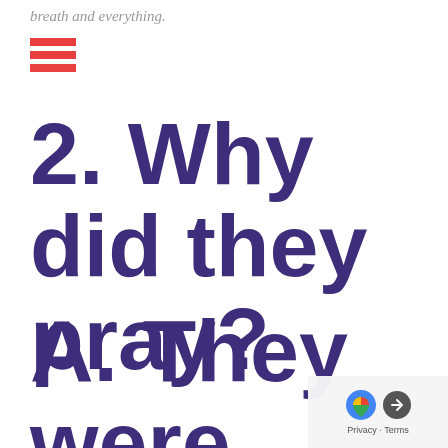breath and everything.
[Figure (other): Three horizontal red bars forming a hamburger/menu icon]
2. Why did they pray?
A. They were utterly dependent o…